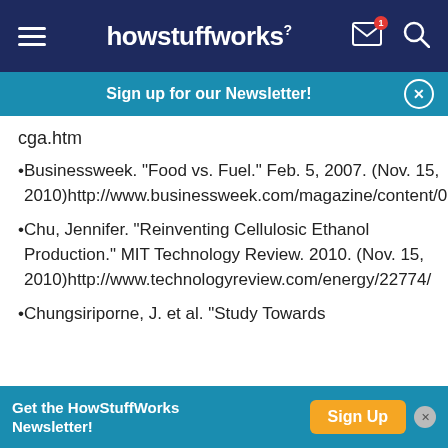howstuffworks
Sign up for our Newsletter!
cga.htm
Businessweek. "Food vs. Fuel." Feb. 5, 2007. (Nov. 15, 2010)http://www.businessweek.com/magazine/content/07_06/b4020093.htm
Chu, Jennifer. "Reinventing Cellulosic Ethanol Production." MIT Technology Review. 2010. (Nov. 15, 2010)http://www.technologyreview.com/energy/22774/
Chungsiriporne, J. et al. "Study Towards...
Get the HowStuffWorks Newsletter!